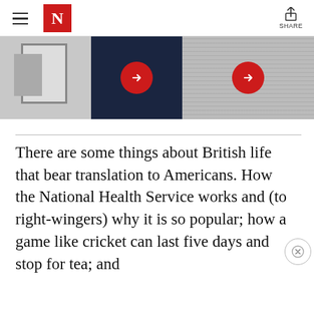The New Yorker — navigation header with hamburger menu, N logo, and Share button
[Figure (photo): Image carousel with three panels: left panel shows a grey/abstract interior photograph, center panel is dark navy with a red circular arrow button, right panel shows a black and white sky/clouds photograph with a red circular arrow button]
There are some things about British life that bear translation to Americans. How the National Health Service works and (to right-wingers) why it is so popular; how a game like cricket can last five days and stop for tea; and